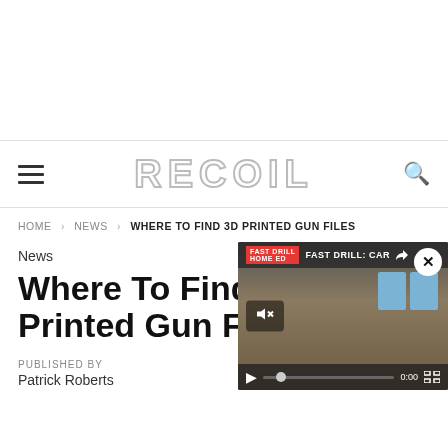RECOIL
HOME > NEWS > WHERE TO FIND 3D PRINTED GUN FILES
News
Where To Find 3D Printed Gun Files
PUBLISHED BY
Patrick Roberts
[Figure (screenshot): Embedded video player showing FAST DRILL: CAR video with play controls, mute button, progress bar showing 0:00, and a close button. Background shows an outdoor shooting range scene.]